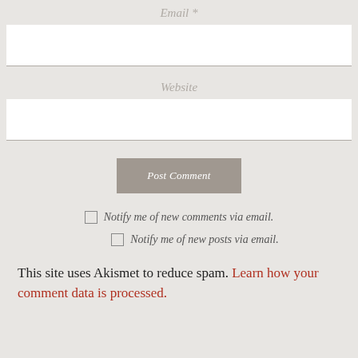Email *
[Figure (other): Email text input field (white box with bottom border)]
Website
[Figure (other): Website text input field (white box with bottom border)]
[Figure (other): Post Comment button (grey background, italic white text)]
Notify me of new comments via email.
Notify me of new posts via email.
This site uses Akismet to reduce spam. Learn how your comment data is processed.